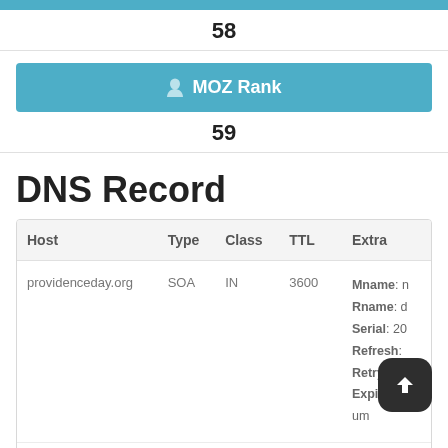58
MOZ Rank
59
DNS Record
| Host | Type | Class | TTL | Extra |
| --- | --- | --- | --- | --- |
| providenceday.org | SOA | IN | 3600 | Mname: n
Rname: d
Serial: 20
Refresh:
Retry: 360
Expire: 60
um |
| providenceday.org | NS | IN | 21600 | Target: ns |